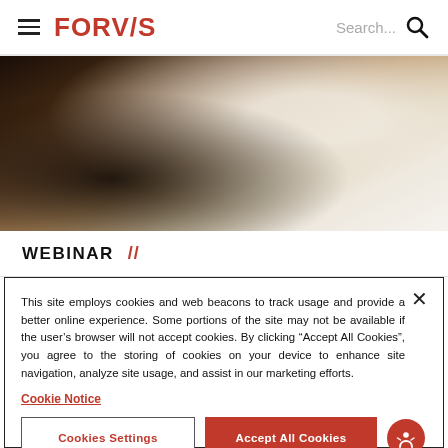FORVIS | Search...
[Figure (photo): Close-up photo of a white notepad or paper on a dark wooden surface, with blurred background]
WEBINAR //
This site employs cookies and web beacons to track usage and provide a better online experience. Some portions of the site may not be available if the user’s browser will not accept cookies. By clicking “Accept All Cookies”, you agree to the storing of cookies on your device to enhance site navigation, analyze site usage, and assist in our marketing efforts.
Cookie Notice
Cookies Settings
Accept All Cookies